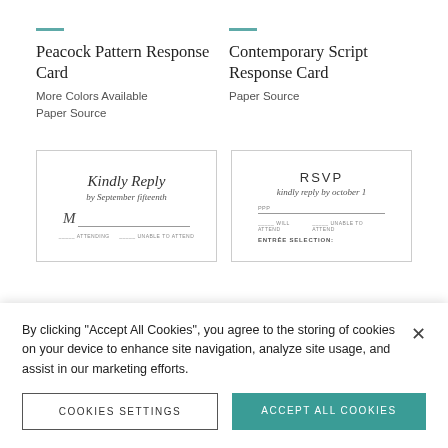Peacock Pattern Response Card
More Colors Available
Paper Source
Contemporary Script Response Card
Paper Source
[Figure (illustration): Preview of Kindly Reply response card with script font showing 'Kindly Reply by September fifteenth' with M_ line and attending/unable to attend text]
[Figure (illustration): Preview of RSVP response card with 'RSVP kindly reply by october 1' text, PPP line, will attend/unable to attend checkboxes, and Entrée Selection text]
By clicking "Accept All Cookies", you agree to the storing of cookies on your device to enhance site navigation, analyze site usage, and assist in our marketing efforts.
COOKIES SETTINGS
ACCEPT ALL COOKIES